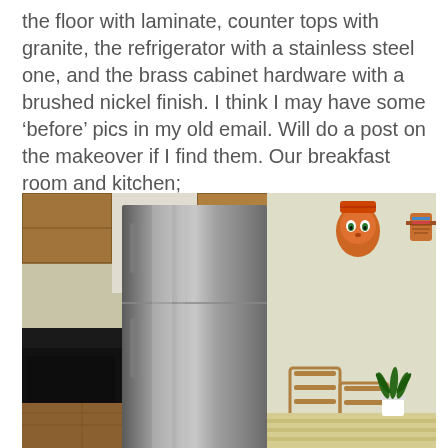the floor with laminate, counter tops with granite, the refrigerator with a stainless steel one, and the brass cabinet hardware with a brushed nickel finish. I think I may have some ‘before’ pics in my old email. Will do a post on the makeover if I find them. Our breakfast room and kitchen;
[Figure (photo): A kitchen and breakfast room photo showing a stainless steel refrigerator on the left with wooden cabinets above, a black countertop with a red apple, laminate flooring. On the right side is a dining area with wooden chairs, a striped tablecloth, a small potted green plant, and two decorative wall masks on the cream-colored wall.]